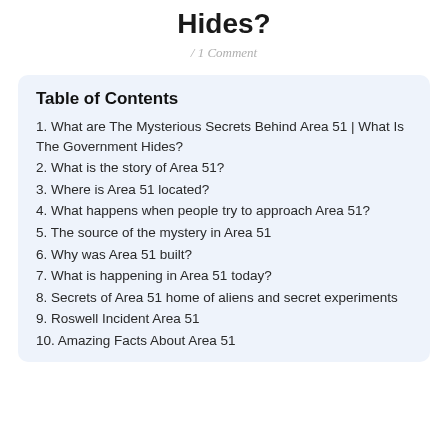Hides?
/ 1 Comment
Table of Contents
1. What are The Mysterious Secrets Behind Area 51 | What Is The Government Hides?
2. What is the story of Area 51?
3. Where is Area 51 located?
4. What happens when people try to approach Area 51?
5. The source of the mystery in Area 51
6. Why was Area 51 built?
7. What is happening in Area 51 today?
8. Secrets of Area 51 home of aliens and secret experiments
9. Roswell Incident Area 51
10. Amazing Facts About Area 51